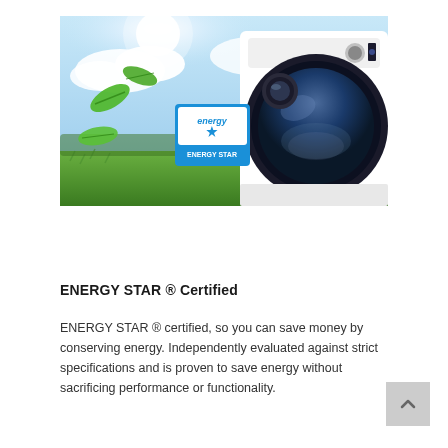[Figure (photo): Marketing photo of a Samsung front-load washing machine with Energy Star certification badge, set against a bright outdoor background with green leaves, grass field, and blue sky with clouds.]
ENERGY STAR ® Certified
ENERGY STAR ® certified, so you can save money by conserving energy. Independently evaluated against strict specifications and is proven to save energy without sacrificing performance or functionality.